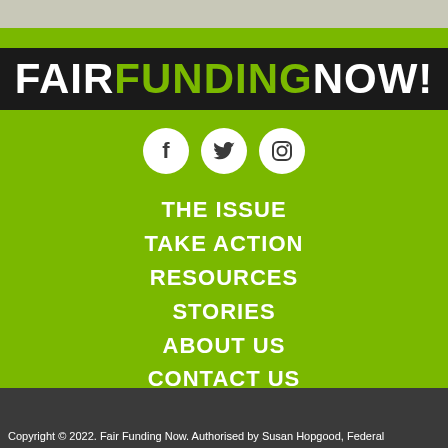[Figure (logo): Fair Funding Now! logo — black background rectangle with white bold text 'FAIR', green bold text 'FUNDING', white bold text 'NOW!']
[Figure (infographic): Three white circular social media icons: Facebook (f), Twitter (bird), Instagram (camera outline)]
THE ISSUE
TAKE ACTION
RESOURCES
STORIES
ABOUT US
CONTACT US
Copyright © 2022. Fair Funding Now. Authorised by Susan Hopgood, Federal